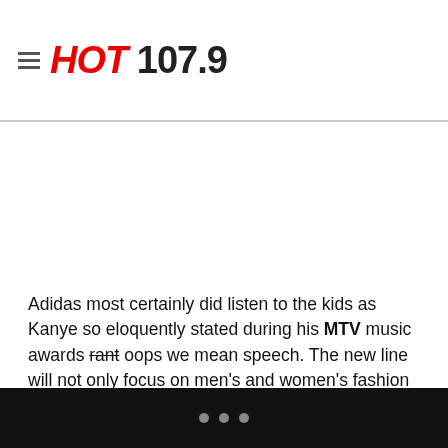HOT 107.9
Adidas most certainly did listen to the kids as Kanye so eloquently stated during his MTV music awards rant oops we mean speech. The new line will not only focus on men's and women's fashion but it will also branch out into athletic gear as well.
Looks like Kanye was a prophet when he tweeted this back in